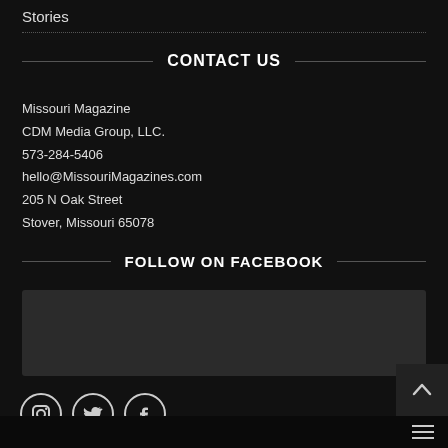Stories
CONTACT US
Missouri Magazine
CDM Media Group, LLC.
573-284-5406
hello@MissouriMagazines.com
205 N Oak Street
Stover, Missouri 65078
FOLLOW ON FACEBOOK
[Figure (other): Facebook embed widget placeholder box]
[Figure (other): Social media icons: Instagram, Twitter, Facebook]
[Figure (other): Back to top arrow button and hamburger menu icon in bottom right corner]